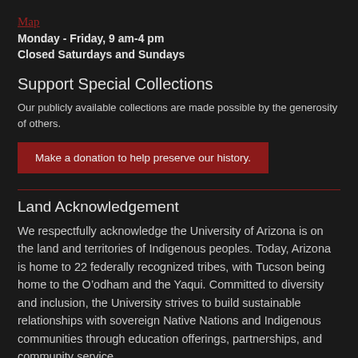Map
Monday - Friday, 9 am-4 pm
Closed Saturdays and Sundays
Support Special Collections
Our publicly available collections are made possible by the generosity of others.
Make a donation to help preserve our history.
Land Acknowledgement
We respectfully acknowledge the University of Arizona is on the land and territories of Indigenous peoples. Today, Arizona is home to 22 federally recognized tribes, with Tucson being home to the O’odham and the Yaqui. Committed to diversity and inclusion, the University strives to build sustainable relationships with sovereign Native Nations and Indigenous communities through education offerings, partnerships, and community service.